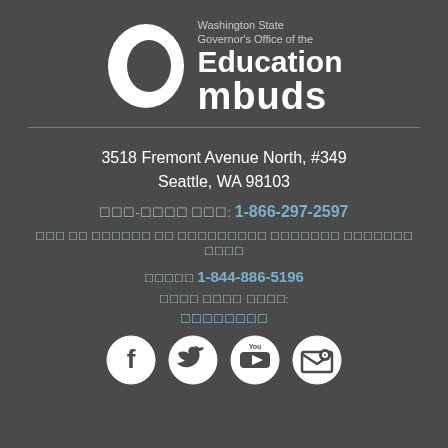[Figure (logo): Washington State Governor's Office of the Education Ombuds logo with stylized O letter]
3518 Fremont Avenue North, #349
Seattle, WA 98103
□□□-□□□□ □□□: 1-866-297-2597
□□□ □□ □□□□□□ □□ □□□□□□□□□ □□□□□□□ □□□□□□□ □□□□
□□□□□ 1-844-886-5196
□□□□ □□□□ □□□□:
□□□□□□□□
[Figure (infographic): Social media icons: Facebook, Twitter, YouTube, Email]